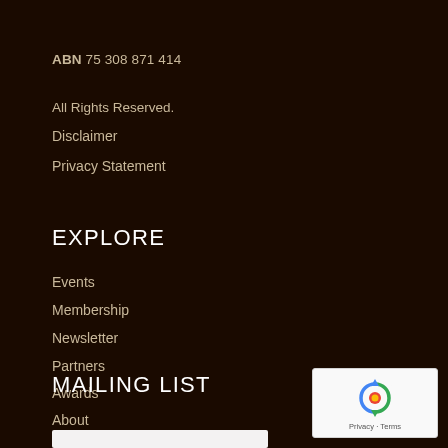ABN 75 308 871 414
All Rights Reserved.
Disclaimer
Privacy Statement
EXPLORE
Events
Membership
Newsletter
Partners
Awards
About
MAILING LIST
[Figure (other): reCAPTCHA widget with recycle-arrow logo and Privacy · Terms text]